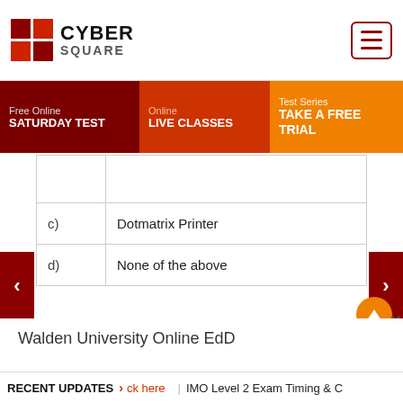[Figure (logo): CyberSquare logo with red grid squares and text CYBER SQUARE]
[Figure (screenshot): Hamburger menu button in dark red border]
Free Online SATURDAY TEST
Online LIVE CLASSES
Test Series TAKE A FREE TRIAL
| c) | Dotmatrix Printer |
| d) | None of the above |
Walden University Online EdD
RECENT UPDATES > ck here | IMO Level 2 Exam Timing & C